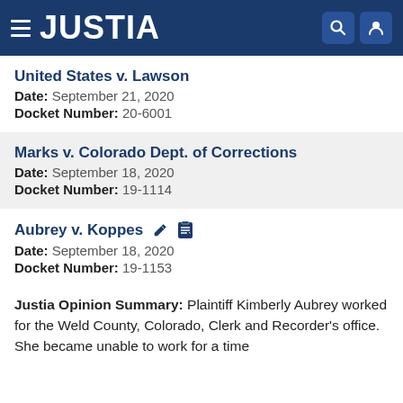JUSTIA
United States v. Lawson
Date: September 21, 2020
Docket Number: 20-6001
Marks v. Colorado Dept. of Corrections
Date: September 18, 2020
Docket Number: 19-1114
Aubrey v. Koppes
Date: September 18, 2020
Docket Number: 19-1153
Justia Opinion Summary: Plaintiff Kimberly Aubrey worked for the Weld County, Colorado, Clerk and Recorder's office. She became unable to work for a time